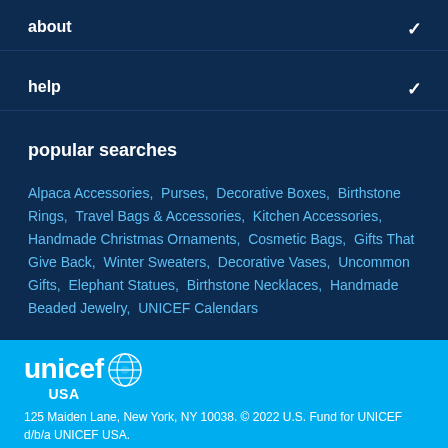about
help
popular searches
Alpaca Accessories,  Purses,  Decorative Boxes,  Birthstone Rings,  Travel Bags & Accessories,  Kitchen Accessories,  Handmade Christmas Ornaments,  Cosmetic Bags,  Gifts That Give Back,  Winter Sweaters,  Decorative Vases,  Uncommon Gifts,  Elephant Statues,  Birthstone Necklaces,  Handmade Beaded Jewelry,  UNICEF Calendars
[Figure (logo): UNICEF USA logo with globe icon]
125 Maiden Lane, New York, NY 10038. © 2022 U.S. Fund for UNICEF d/b/a UNICEF USA.